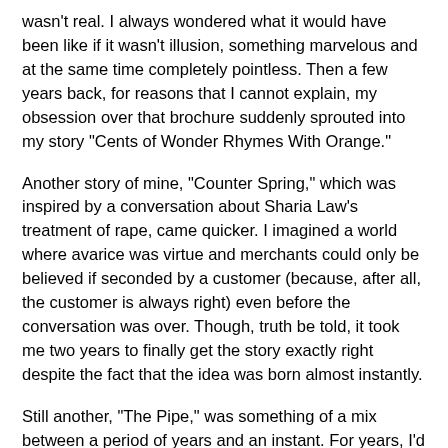wasn't real. I always wondered what it would have been like if it wasn't illusion, something marvelous and at the same time completely pointless. Then a few years back, for reasons that I cannot explain, my obsession over that brochure suddenly sprouted into my story "Cents of Wonder Rhymes With Orange."
Another story of mine, "Counter Spring," which was inspired by a conversation about Sharia Law's treatment of rape, came quicker. I imagined a world where avarice was virtue and merchants could only be believed if seconded by a customer (because, after all, the customer is always right) even before the conversation was over. Though, truth be told, it took me two years to finally get the story exactly right despite the fact that the idea was born almost instantly.
Still another, "The Pipe," was something of a mix between a period of years and an instant. For years, I'd been fascinated by an exposed pipe that extended over a creek in my hometown. My parents drove by that creek once in a while, but I'd never actually walked anywhere nearby. At each end, the pipe had these fan-like half circles of steel mesh. I